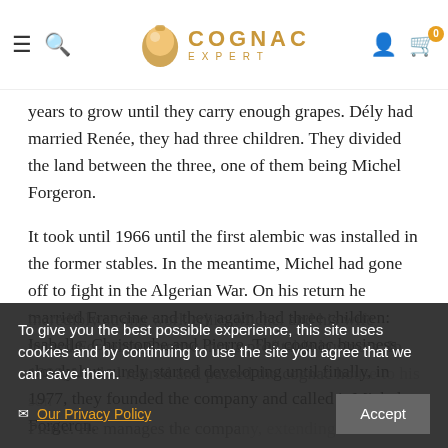Cognac Expert
years to grow until they carry enough grapes. Dély had married Renée, they had three children. They divided the land between the three, one of them being Michel Forgeron.
It took until 1966 until the first alembic was installed in the former stables. In the meantime, Michel had gone off to fight in the Algerian War. On his return he married Francine and they again had three children: Isabelle, Christophe and Pierre. The cognac business slowly but surely started developing until finally, in 1977, they founded the company and called it Michel Forgeron.
With a strong belief in environmental techniques and an incredibly strong work ethic, Michel and his wife turned Forgeron Cognac into a profitable business. In 1998, Michel retired and passed the cognac house to his son Pierre. He manages the company, extending the property to 19 hectares.
To give you the best possible experience, this site uses cookies and by continuing to use the site you agree that we can save them. Our Privacy Policy Accept